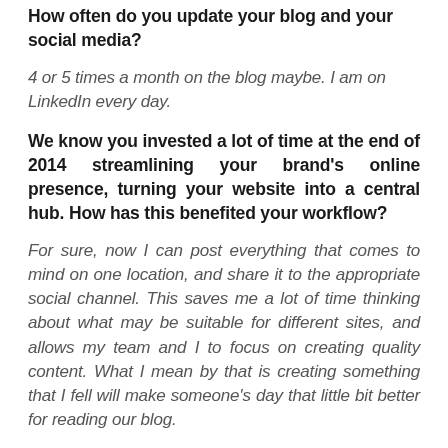How often do you update your blog and your social media?
4 or 5 times a month on the blog maybe. I am on LinkedIn every day.
We know you invested a lot of time at the end of 2014 streamlining your brand’s online presence, turning your website into a central hub. How has this benefited your workflow?
For sure, now I can post everything that comes to mind on one location, and share it to the appropriate social channel. This saves me a lot of time thinking about what may be suitable for different sites, and allows my team and I to focus on creating quality content. What I mean by that is creating something that I fell will make someone’s day that little bit better for reading our blog.